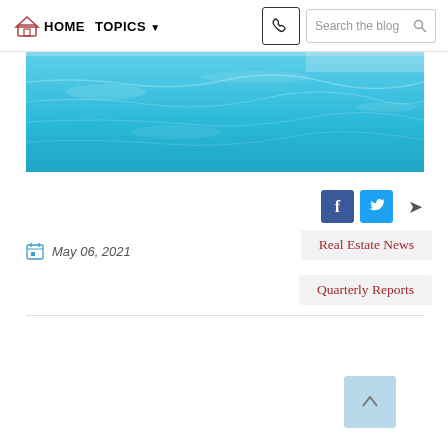HOME  TOPICS  Search the blog
[Figure (photo): Swimming pool with clear blue water viewed from above]
[Figure (other): Social sharing buttons: Facebook (f), Twitter (bird), and share arrow]
May 06, 2021
Real Estate News
Quarterly Reports
[Figure (other): Scroll-to-top button with upward arrow, light blue background]